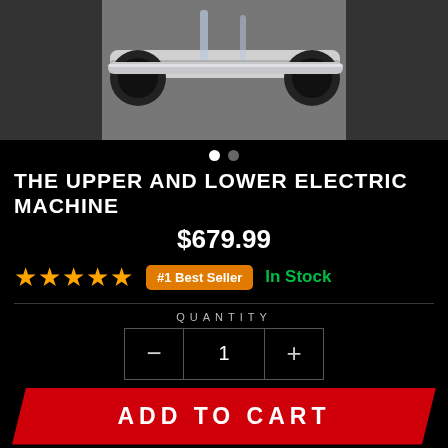[Figure (photo): Product photo of an upper and lower electric machine on a grey background, showing metal roller/bar components with black rubber ends]
THE UPPER AND LOWER ELECTRIC MACHINE
$679.99
★★★★★  #1 Best Seller  In Stock
QUANTITY
1
ADD TO CART
Fast Shipping to: Virginia
Delivery By: Sept 2